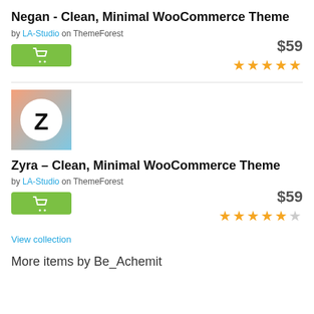Negan - Clean, Minimal WooCommerce Theme
by LA-Studio on ThemeForest
[Figure (other): Green shopping cart button]
$59
★★★★★ (5 stars)
[Figure (logo): Zyra theme logo: gradient background with Z letter in white circle]
Zyra – Clean, Minimal WooCommerce Theme
by LA-Studio on ThemeForest
[Figure (other): Green shopping cart button]
$59
★★★★★½ (4.5 stars)
View collection
More items by Be_Achemit